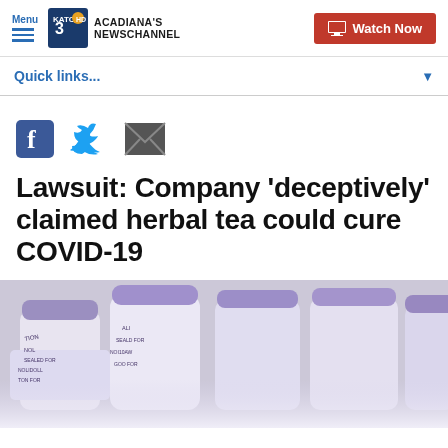Menu | KATC ACADIANA'S NEWSCHANNEL | Watch Now
Quick links...
[Figure (other): Social share icons: Facebook, Twitter, Email]
Lawsuit: Company 'deceptively' claimed herbal tea could cure COVID-19
[Figure (photo): Close-up photo of plastic jugs/bottles with purple caps and printed labels]